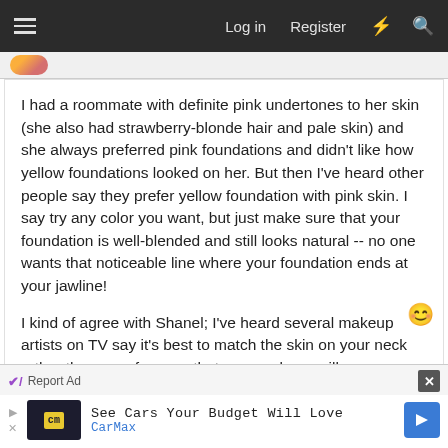≡   Log in   Register   ⚡   🔍
I had a roommate with definite pink undertones to her skin (she also had strawberry-blonde hair and pale skin) and she always preferred pink foundations and didn't like how yellow foundations looked on her. But then I've heard other people say they prefer yellow foundation with pink skin. I say try any color you want, but just make sure that your foundation is well-blended and still looks natural -- no one wants that noticeable line where your foundation ends at your jawline!
I kind of agree with Shanel; I've heard several makeup artists on TV say it's best to match the skin on your neck rather than your face, so that your makeup will
[Figure (screenshot): Advertisement bar at bottom: 'Report Ad' label with close button, CarMax ad with logo, text 'See Cars Your Budget Will Love' and 'CarMax', with a blue arrow button.]